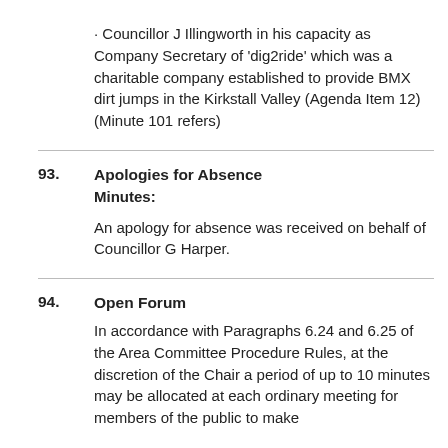· Councillor J Illingworth in his capacity as Company Secretary of 'dig2ride' which was a charitable company established to provide BMX dirt jumps in the Kirkstall Valley (Agenda Item 12) (Minute 101 refers)
93.  Apologies for Absence
Minutes:
An apology for absence was received on behalf of Councillor G Harper.
94.  Open Forum
In accordance with Paragraphs 6.24 and 6.25 of the Area Committee Procedure Rules, at the discretion of the Chair a period of up to 10 minutes may be allocated at each ordinary meeting for members of the public to make